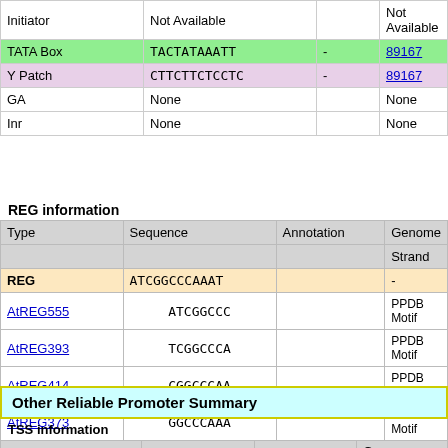|  | Sequence | Annotation | Genome position |
| --- | --- | --- | --- |
| Initiator | Not Available |  | Not Available |
| TATA Box | TACTATAAATT | - | 89167… |
| Y Patch | CTTCTTCTCCTC | - | 89167… |
| GA | None |  | None |
| Inr | None |  | None |
REG information
| Type | Sequence | Annotation | Genome position (Strand) |
| --- | --- | --- | --- |
| REG | ATCGGCCCAAAT |  | - |
| AtREG555 | ATCGGCCC |  | PPDB Motif |
| AtREG393 | TCGGCCCA |  | PPDB Motif |
| AtREG414 | CGGCCCAA |  | PPDB Motif |
| AtREG373 | GGCCCAAA |  | PPDB Motif |
| AtREG421 | GCCCAAAT |  | PPDB Motif |
Other Reliable Promoter Summary
TSS information
| Type | Sequence | TPM score | Genome position | Strand | Posit… |
| --- | --- | --- | --- | --- | --- |